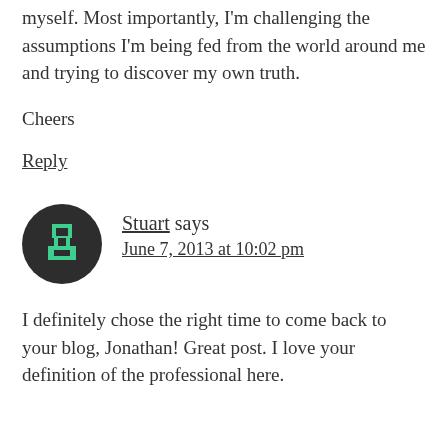myself. Most importantly, I'm challenging the assumptions I'm being fed from the world around me and trying to discover my own truth.
Cheers
Reply
Stuart says
June 7, 2013 at 10:02 pm
I definitely chose the right time to come back to your blog, Jonathan! Great post. I love your definition of the professional here.